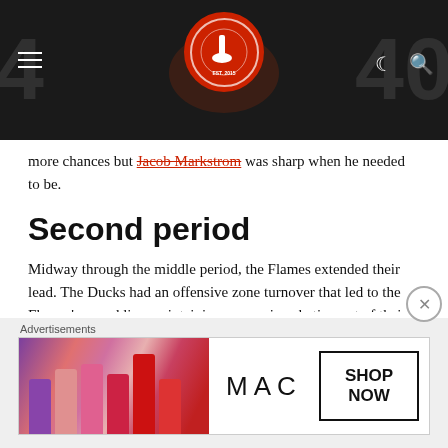Website header with logo and navigation icons
more chances but Jacob Markstrom was sharp when he needed to be.
Second period
Midway through the middle period, the Flames extended their lead. The Ducks had an offensive zone turnover that led to the Flames' second line maintaining possession skating out of their own zone. As the Flames skated out of their own zone, they had a bit of a broken play where the puck just went between the legs of a Ducks defender right to...
[Figure (photo): MAC Cosmetics advertisement banner showing lipsticks with SHOP NOW button]